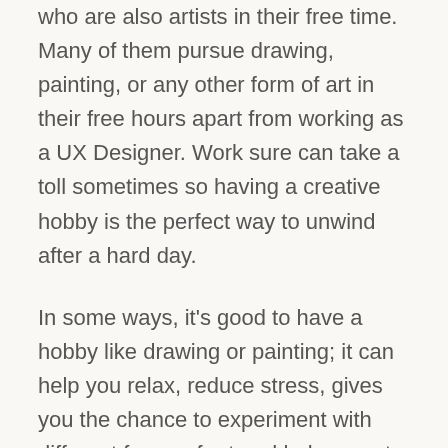who are also artists in their free time. Many of them pursue drawing, painting, or any other form of art in their free hours apart from working as a UX Designer. Work sure can take a toll sometimes so having a creative hobby is the perfect way to unwind after a hard day.
In some ways, it's good to have a hobby like drawing or painting; it can help you relax, reduce stress, gives you the chance to experiment with different forms of art and helps one to learn and explore more in the creative field. Indirectly it could also help you in your design work; studies have proved that having a creative hobby helps improve your thinking and problem-solving skills and coming up with creative and out-of-the-box ideas. It all comes down to just how well you can maintain